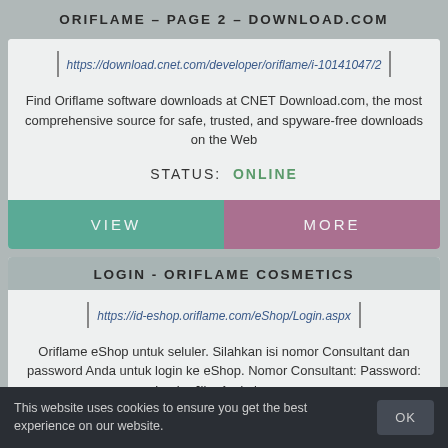ORIFLAME - PAGE 2 - DOWNLOAD.COM
https://download.cnet.com/developer/oriflame/i-10141047/2
Find Oriflame software downloads at CNET Download.com, the most comprehensive source for safe, trusted, and spyware-free downloads on the Web
STATUS: ONLINE
VIEW
MORE
LOGIN - ORIFLAME COSMETICS
https://id-eshop.oriflame.com/eShop/Login.aspx
Oriflame eShop untuk seluler. Silahkan isi nomor Consultant dan password Anda untuk login ke eShop. Nomor Consultant: Password: Login. Jika Anda lupa ...
STATUS: ONLINE
This website uses cookies to ensure you get the best experience on our website.